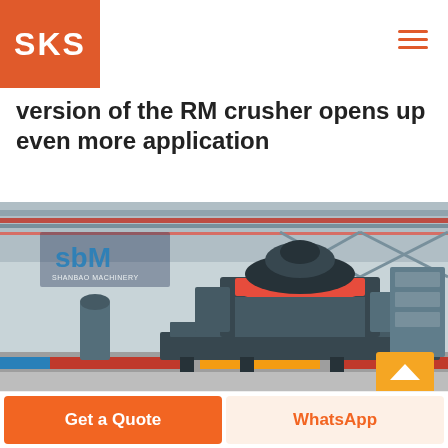SKS
version of the RM crusher opens up even more application
[Figure (photo): Industrial crusher machine (VSI type) displayed in a large factory/warehouse setting with SBM Shanbao Machinery branding visible. The machine is dark grey/black with a red ring on top, mounted on a heavy steel base. Background shows industrial structure with red/blue steel beams.]
Get a Quote
WhatsApp